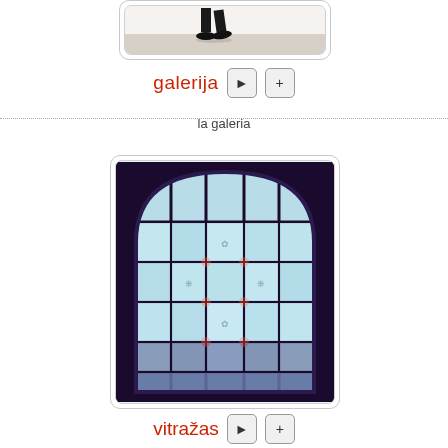[Figure (photo): Partial view of a person's legs walking in a gallery space, shown from knees down, wearing dark pants and black shoes on a light wooden floor]
galerija ▶ +
la galeria
[Figure (photo): Stained glass window with arched top featuring intricate blue, dark and colorful decorative patterns arranged in a grid with ornate botanical/geometric motifs]
vitražas ▶ +